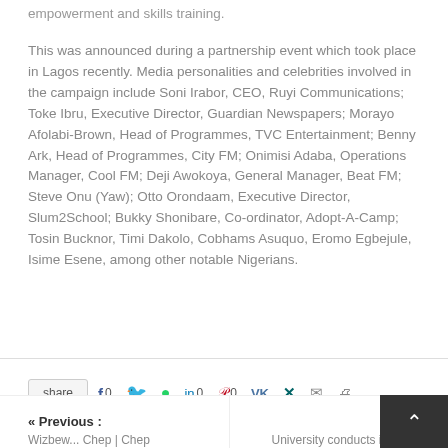empowerment and skills training.
This was announced during a partnership event which took place in Lagos recently. Media personalities and celebrities involved in the campaign include Soni Irabor, CEO, Ruyi Communications; Toke Ibru, Executive Director, Guardian Newspapers; Morayo Afolabi-Brown, Head of Programmes, TVC Entertainment; Benny Ark, Head of Programmes, City FM; Onimisi Adaba, Operations Manager, Cool FM; Deji Awokoya, General Manager, Beat FM; Steve Onu (Yaw); Otto Orondaam, Executive Director, Slum2School; Bukky Shonibare, Co-ordinator, Adopt-A-Camp; Tosin Bucknor, Timi Dakolo, Cobhams Asuquo, Eromo Egbejule, Isime Esene, among other notable Nigerians.
[Figure (other): Social share bar with share button and icons for Facebook (0), Twitter, WhatsApp, LinkedIn (0), Pinterest (0), VK, Xing, email, and print]
Previous : Wizbew... Chep | Chep     Next University conducts integrity...